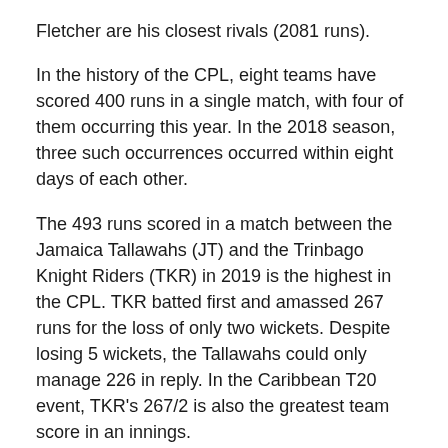Fletcher are his closest rivals (2081 runs).
In the history of the CPL, eight teams have scored 400 runs in a single match, with four of them occurring this year. In the 2018 season, three such occurrences occurred within eight days of each other.
The 493 runs scored in a match between the Jamaica Tallawahs (JT) and the Trinbago Knight Riders (TKR) in 2019 is the highest in the CPL. TKR batted first and amassed 267 runs for the loss of only two wickets. Despite losing 5 wickets, the Tallawahs could only manage 226 in reply. In the Caribbean T20 event, TKR's 267/2 is also the greatest team score in an innings.
Colin Munro set the record for most runs scored in a single CPL season in 2018. In 13 matches, he scored 567 runs. During the season, he scored six half-centuries. Brandon King has the highest individual score in the CPL. In 2019, he scored 1433 runs in 73 balls for the Guyana Amazon Warriors.